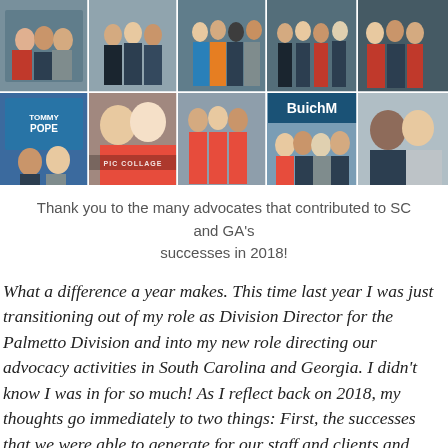[Figure (photo): Collage of multiple event and advocacy photos showing groups of people at political and community events, including a Tommy Pope sign, PIC COLLAGE watermark, and a Butch M banner.]
Thank you to the many advocates that contributed to SC and GA's successes in 2018!
What a difference a year makes. This time last year I was just transitioning out of my role as Division Director for the Palmetto Division and into my new role directing our advocacy activities in South Carolina and Georgia. I didn't know I was in for so much! As I reflect back on 2018, my thoughts go immediately to two things: First, the successes that we were able to generate for our staff and clients and secondly, the many BAYADA leadership, staff and clients that shared their voices and